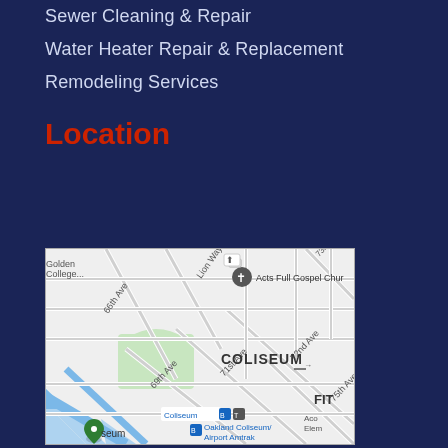Sewer Cleaning & Repair
Water Heater Repair & Replacement
Remodeling Services
Location
[Figure (map): Google Maps screenshot showing the Coliseum area of Oakland, CA. Visible landmarks include Acts Full Gospel Church, 66th Ave, Lion Way, 69th Ave, 71st Ave, 72nd Ave, 73rd, 75th Ave, COLISEUM label, FIT label, Coliseum transit station, Oakland Coliseum/Airport Amtrak station, Acorn Elementary school partial label, and a green area representing the Coliseum grounds.]